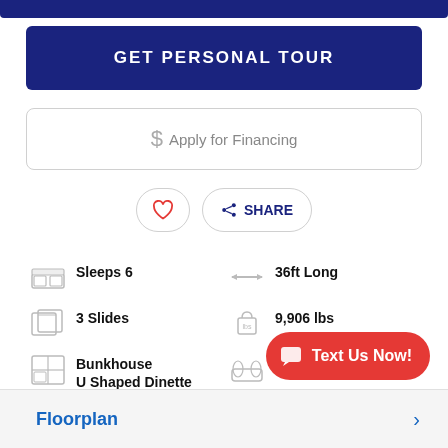GET PERSONAL TOUR
$ Apply for Financing
♡  SHARE
Sleeps 6
36ft Long
3 Slides
9,906 lbs
Bunkhouse U Shaped Dinette
PEBBLE
Floorplan
Text Us Now!